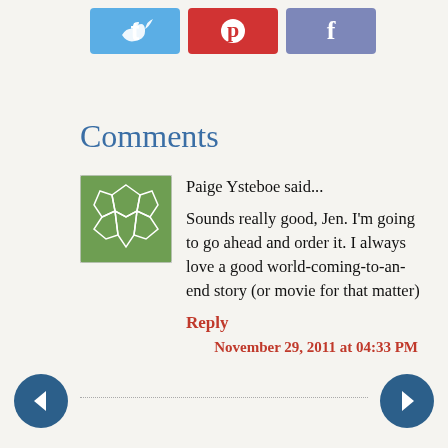[Figure (other): Social media share buttons: Twitter (blue), Pinterest (red), Facebook (purple-blue)]
Comments
[Figure (other): Avatar image: green soccer ball / geometric pattern icon]
Paige Ysteboe said...
Sounds really good, Jen. I'm going to go ahead and order it. I always love a good world-coming-to-an-end story (or movie for that matter)
Reply
November 29, 2011 at 04:33 PM